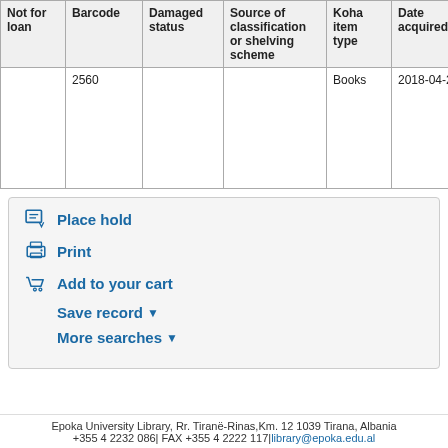| Not for loan | Barcode | Damaged status | Source of classification or shelving scheme | Koha item type | Date acquired | Permanent Location |
| --- | --- | --- | --- | --- | --- | --- |
|  | 2560 |  |  | Books | 2018-04-20 | Epoka University Library |
Place hold
Print
Add to your cart
Save record ▼
More searches ▼
Epoka University Library, Rr. Tiranë-Rinas,Km. 12 1039 Tirana, Albania +355 4 2232 086| FAX +355 4 2222 117|library@epoka.edu.al